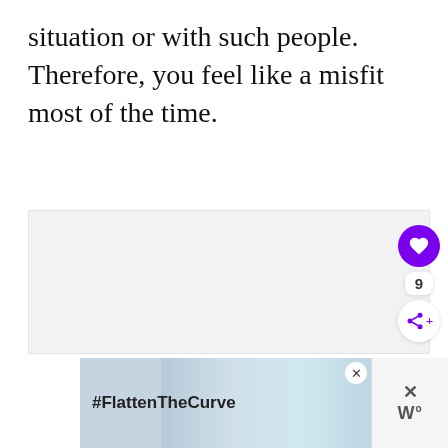situation or with such people. Therefore, you feel like a misfit most of the time.
[Figure (other): Large light gray placeholder/ad area rectangle in the middle of the page]
[Figure (other): UI floating action buttons on the right side: purple heart button, count label showing 9, and a share button]
[Figure (other): Bottom advertisement banner with #FlattenTheCurve text on light blue background with water/handwashing image, a close X button, and a weather widget logo on the right]